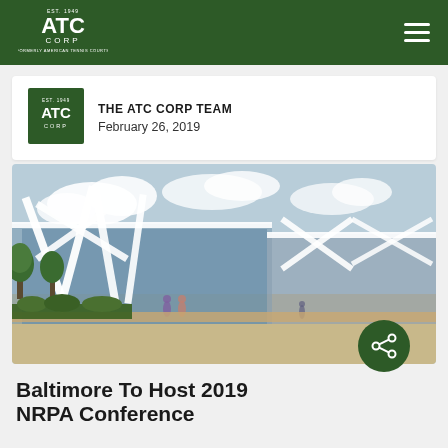ATC CORP - Formerly American Tennis Courts
[Figure (logo): ATC Corp logo with EST. 1949, white text on dark green navigation bar]
THE ATC CORP TEAM
February 26, 2019
[Figure (photo): Exterior photo of Baltimore Convention Center with white architectural supports and trees in foreground]
Baltimore To Host 2019 NRPA Conference